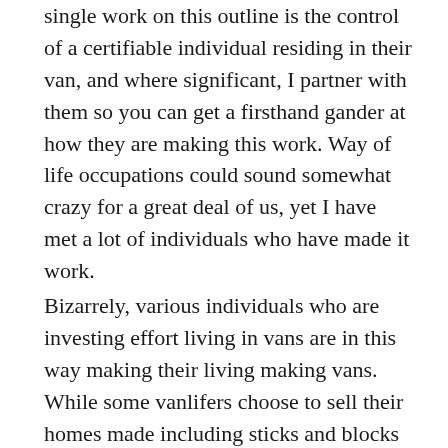single work on this outline is the control of a certifiable individual residing in their van, and where significant, I partner with them so you can get a firsthand gander at how they are making this work. Way of life occupations could sound somewhat crazy for a great deal of us, yet I have met a lot of individuals who have made it work.
Bizarrely, various individuals who are investing effort living in vans are in this way making their living making vans. While some vanlifers choose to sell their homes made including sticks and blocks and live full-time in vans, others could save persevering through addresses and basically utilize their vans for trips or get-aways.